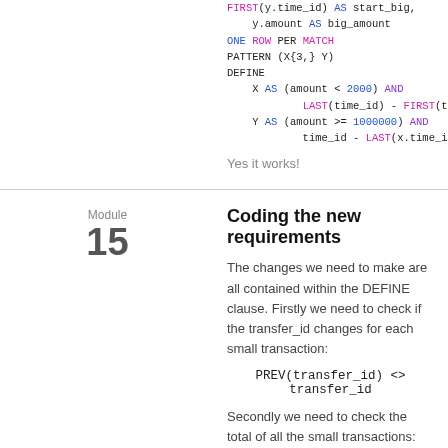FIRST(y.time_id) AS start_big,
    y.amount AS big_amount
ONE ROW PER MATCH
PATTERN (X{3,} Y)
DEFINE
    X AS (amount < 2000) AND
            LAST(time_id) - FIRST(time_id) < 30
    Y AS (amount >= 1000000) AND
            time_id - LAST(x.time_id) < 10);
Yes it works!
Coding the new requirements
The changes we need to make are all contained within the DEFINE clause. Firstly we need to check if the transfer_id changes for each small transaction:
Secondly we need to check the total of all the small transactions: